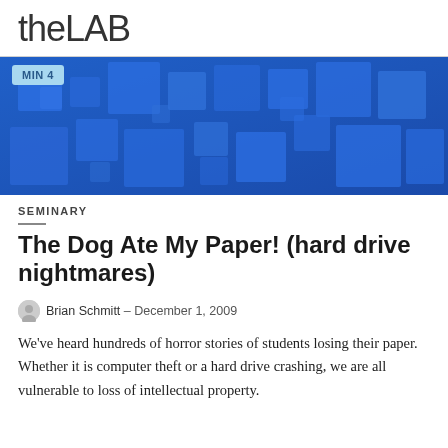theLAB
[Figure (photo): Abstract blue 3D geometric squares/blocks pattern with a 'MIN 4' badge overlay in the top left corner]
SEMINARY
The Dog Ate My Paper! (hard drive nightmares)
Brian Schmitt – December 1, 2009
We've heard hundreds of horror stories of students losing their paper. Whether it is computer theft or a hard drive crashing, we are all vulnerable to loss of intellectual property.